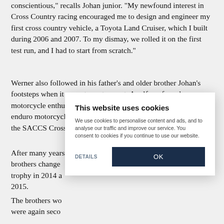conscientious," recalls Johan junior. "My newfound interest in Cross Country racing encouraged me to design and engineer my first cross country vehicle, a Toyota Land Cruiser, which I built during 2006 and 2007. To my dismay, we rolled it on the first test run, and I had to start from scratch."
Werner also followed in his father's and older brother Johan's footsteps when it came to motorsport. A self-confessed motorcycle enthusiast, Werner combines his love of off-road and enduro motorcycle racing with co-driving for brother Johan in the SACCS Cross Country championship.
After many years brothers change trophy in 2014 a 2015.
The brothers wo were again seco
[Figure (screenshot): Cookie consent banner overlay on a website. Title: 'This website uses cookies'. Body text: 'We use cookies to personalise content and ads, and to analyse our traffic and improve our service. You consent to cookies if you continue to use our website.' Two buttons: 'DETAILS' (text link) and 'OK' (dark navy button).]